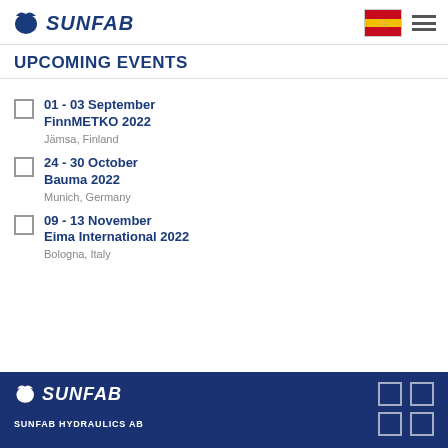SUNFAB
UPCOMING EVENTS
01 - 03 September
FinnMETKO 2022
Jämsa, Finland
24 - 30 October
Bauma 2022
Munich, Germany
09 - 13 November
Eima International 2022
Bologna, Italy
SUNFAB
SUNFAB HYDRAULICS AB